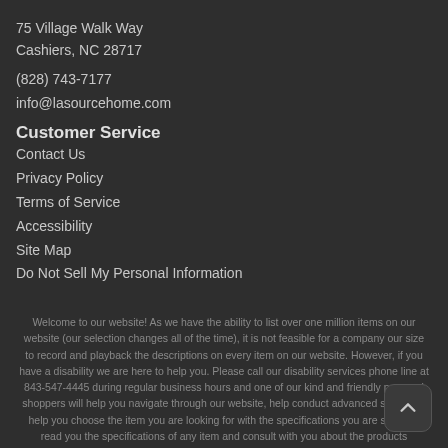75 Village Walk Way
Cashiers, NC 28717
(828) 743-7177
info@lasourcehome.com
Customer Service
Contact Us
Privacy Policy
Terms of Service
Accessibility
Site Map
Do Not Sell My Personal Information
Welcome to our website! As we have the ability to list over one million items on our website (our selection changes all of the time), it is not feasible for a company our size to record and playback the descriptions on every item on our website. However, if you have a disability we are here to help you. Please call our disability services phone line at 843-547-4445 during regular business hours and one of our kind and friendly personal shoppers will help you navigate through our website, help conduct advanced searches, help you choose the item you are looking for with the specifications you are seeking, read you the specifications of any item and consult with you about the products themselves.